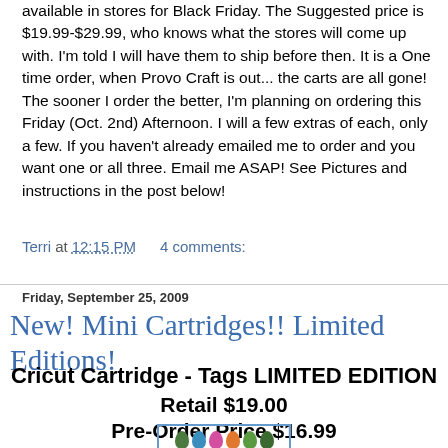available in stores for Black Friday. The Suggested price is $19.99-$29.99, who knows what the stores will come up with. I'm told I will have them to ship before then. It is a One time order, when Provo Craft is out... the carts are all gone! The sooner I order the better, I'm planning on ordering this Friday (Oct. 2nd) Afternoon. I will a few extras of each, only a few. If you haven't already emailed me to order and you want one or all three. Email me ASAP! See Pictures and instructions in the post below!
Terri at 12:15 PM   4 comments:
Friday, September 25, 2009
New! Mini Cartridges!! Limited Editions!
Cricut Cartridge - Tags LIMITED EDITION
Retail $19.00
Pre-Order Price $16.99
[Figure (photo): Small product image showing colorful mini cartridge icons in a bordered box]